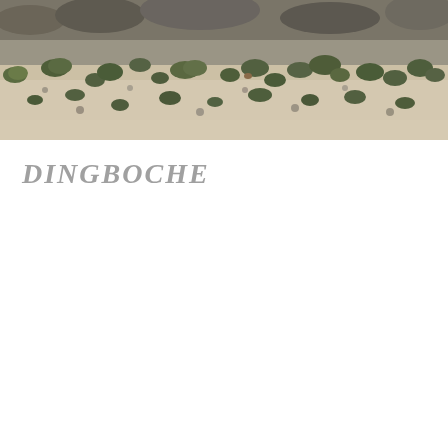[Figure (photo): Aerial/ground-level photograph of a rocky, gravelly terrain with scattered low green shrubs and sparse vegetation typical of high-altitude alpine environment (Dingboche, Nepal Himalayas).]
DINGBOCHE